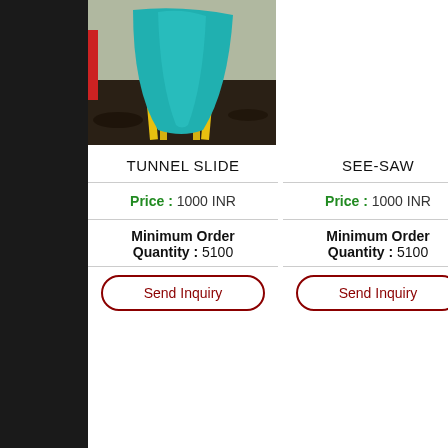[Figure (photo): Photograph of a teal/green tunnel slide with yellow metal legs installed on dark soil ground in a playground area]
TUNNEL SLIDE
SEE-SAW
Price : 1000 INR
Price : 1000 INR
Minimum Order Quantity : 5100
Minimum Order Quantity : 5100
Send Inquiry
Send Inquiry